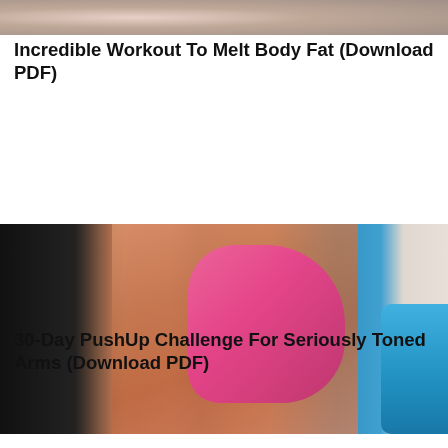[Figure (photo): Partial view of a fitness-related photo at the top of the page, cropped, showing a person exercising.]
Incredible Workout To Melt Body Fat (Download PDF)
[Figure (photo): Woman in a pink sports bra and shorts doing a pushup or plank exercise. Her long dark hair hangs down. Another person in a blue outfit is partially visible on the right.]
30-Day PushUp Challenge For Seriously Toned Arms (Download PDF)
[Figure (photo): Partial view of another fitness photo at the bottom, cropped.]